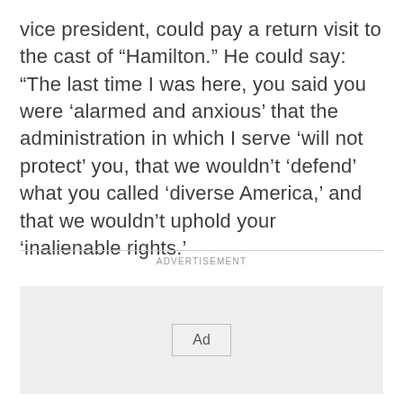vice president, could pay a return visit to the cast of “Hamilton.” He could say: “The last time I was here, you said you were ‘alarmed and anxious’ that the administration in which I serve ‘will not protect’ you, that we wouldn’t ‘defend’ what you called ‘diverse America,’ and that we wouldn’t uphold your ‘inalienable rights.’
ADVERTISEMENT
[Figure (other): Advertisement placeholder box with an 'Ad' button centered inside a light gray rectangle.]